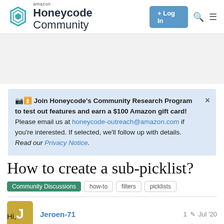amazon Honeycode Community
Join Honeycode's Community Research Program to test out features and earn a $100 Amazon gift card! Please email us at honeycode-outreach@amazon.com if you're interested. If selected, we'll follow up with details. Read our Privacy Notice.
How to create a sub-picklist?
Community Discussions  how-to  filters  picklists
Jeroen-71   1  Jul '20
Hi,